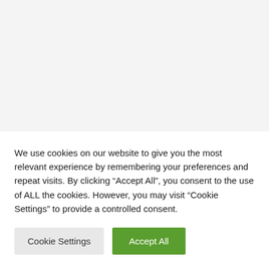[Figure (screenshot): Partially visible webpage showing a grey thumbnail image and a blue link text reading: " Wizarding world secret codes " unlock magical unlocks with secret codes]
We use cookies on our website to give you the most relevant experience by remembering your preferences and repeat visits. By clicking “Accept All”, you consent to the use of ALL the cookies. However, you may visit "Cookie Settings" to provide a controlled consent.
Cookie Settings
Accept All